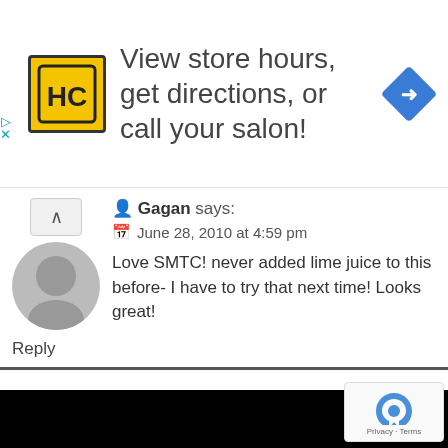[Figure (screenshot): Advertisement banner for salon locator: HC logo in yellow square, text 'View store hours, get directions, or call your salon!', blue diamond directions icon on right, with play and close controls on left.]
Gagan says:
June 28, 2010 at 4:59 pm

Love SMTC! never added lime juice to this before- I have to try that next time! Looks great!
Reply
[Figure (screenshot): Black background section with reCAPTCHA badge at bottom right showing 'Privacy · Terms']